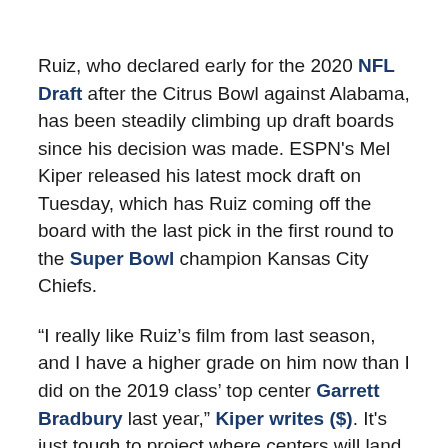Ruiz, who declared early for the 2020 NFL Draft after the Citrus Bowl against Alabama, has been steadily climbing up draft boards since his decision was made. ESPN's Mel Kiper released his latest mock draft on Tuesday, which has Ruiz coming off the board with the last pick in the first round to the Super Bowl champion Kansas City Chiefs.
“I really like Ruiz’s film from last season, and I have a higher grade on him now than I did on the 2019 class’ top center Garrett Bradbury last year,” Kiper writes ($). It’s just tough to project where centers will land because few teams actually need them. Ruiz, who also started a few games at guard in college, is an outstanding pass-blocker. The Chiefs could upgrade at